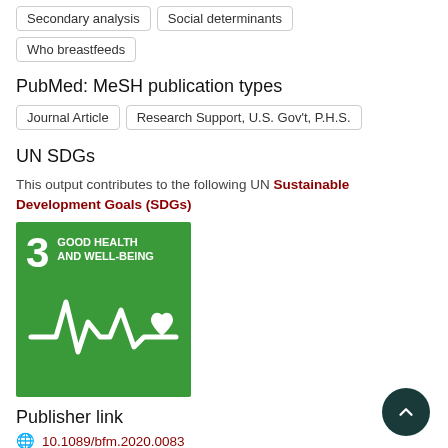Secondary analysis
Social determinants
Who breastfeeds
PubMed: MeSH publication types
Journal Article
Research Support, U.S. Gov't, P.H.S.
UN SDGs
This output contributes to the following UN Sustainable Development Goals (SDGs)
[Figure (logo): UN SDG Goal 3: Good Health and Well-Being badge — green square with number 3, title text, and health monitor with heart icon in white]
Publisher link
10.1089/bfm.2020.0083